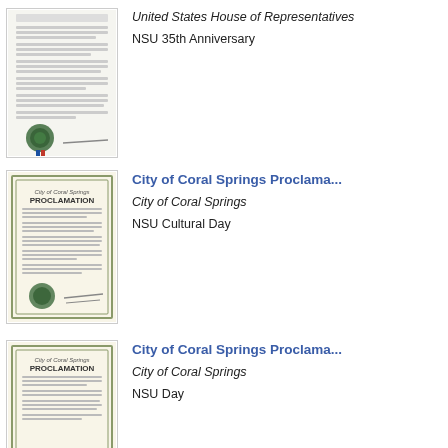[Figure (illustration): Thumbnail of a United States House of Representatives document with green seal and blue ribbon]
United States House of Representatives
NSU 35th Anniversary
[Figure (illustration): Thumbnail of City of Coral Springs Proclamation document with green seal and signature]
City of Coral Springs Proclama...
City of Coral Springs
NSU Cultural Day
[Figure (illustration): Thumbnail of City of Coral Springs Proclamation document]
City of Coral Springs Proclama...
City of Coral Springs
NSU Day